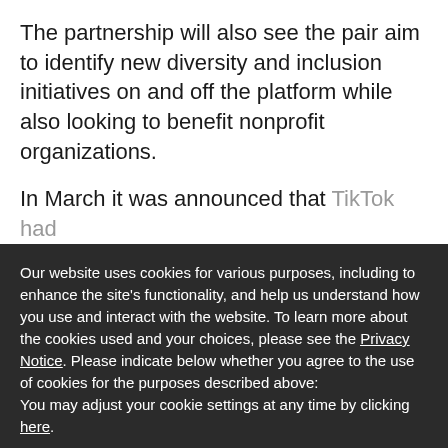The partnership will also see the pair aim to identify new diversity and inclusion initiatives on and off the platform while also looking to benefit nonprofit organizations.
In March it was announced that TikTok had
Our website uses cookies for various purposes, including to enhance the site's functionality, and help us understand how you use and interact with the website. To learn more about the cookies used and your choices, please see the Privacy Notice. Please indicate below whether you agree to the use of cookies for the purposes described above: You may adjust your cookie settings at any time by clicking here.